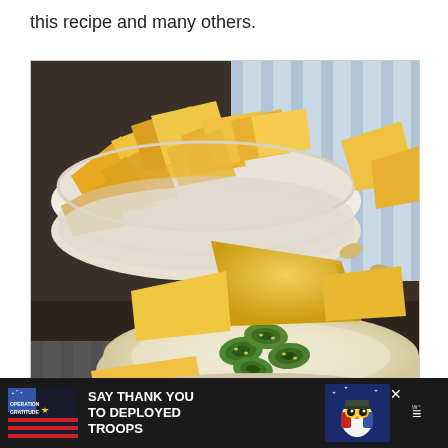this recipe and many others.
[Figure (photo): A bowl of white queso dip topped with sliced jalapeños, with tortilla chips dipped into it, and a bowl of tortilla chips in the background on a striped blue and white cloth.]
[Figure (infographic): Advertisement banner: Operation Gratitude logo on the left, bold white text 'SAY THANK YOU TO DEPLOYED TROOPS', patriotic owl mascot cartoon, close button X, and weather icon on dark background.]